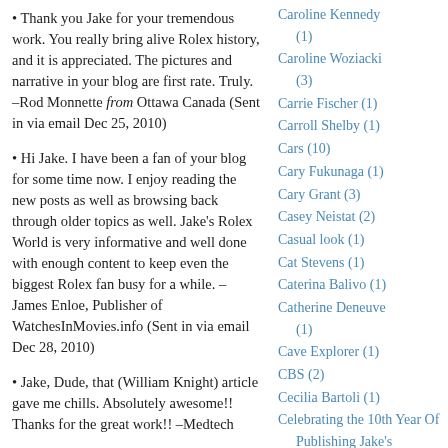• Thank you Jake for your tremendous work. You really bring alive Rolex history, and it is appreciated. The pictures and narrative in your blog are first rate. Truly. –Rod Monnette from Ottawa Canada (Sent in via email Dec 25, 2010)
• Hi Jake. I have been a fan of your blog for some time now. I enjoy reading the new posts as well as browsing back through older topics as well. Jake's Rolex World is very informative and well done with enough content to keep even the biggest Rolex fan busy for a while. –James Enloe, Publisher of WatchesInMovies.info (Sent in via email Dec 28, 2010)
• Jake, Dude, that (William Knight) article gave me chills. Absolutely awesome!! Thanks for the great work!! –Medtech
Caroline Kennedy (1)
Caroline Woziacki (3)
Carrie Fischer (1)
Carroll Shelby (1)
Cars (10)
Cary Fukunaga (1)
Cary Grant (3)
Casey Neistat (2)
Casual look (1)
Cat Stevens (1)
Caterina Balivo (1)
Catherine Deneuve (1)
Cave Explorer (1)
CBS (2)
Cecilia Bartoli (1)
Celebrating the 10th Year Of Publishing Jake's